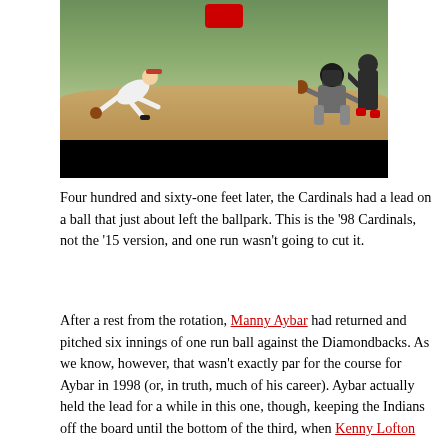[Figure (photo): Baseball game photo showing a pitcher fielding near home plate with a catcher in the background, with a black video control bar at the bottom and a red play button overlay at top center.]
Four hundred and sixty-one feet later, the Cardinals had a lead on a ball that just about left the ballpark.  This is the '98 Cardinals, not the '15 version, and one run wasn't going to cut it.
After a rest from the rotation, Manny Aybar had returned and pitched six innings of one run ball against the Diamondbacks.  As we know, however, that wasn't exactly par for the course for Aybar in 1998 (or, in truth, much of his career).  Aybar actually held the lead for a while in this one, though, keeping the Indians off the board until the bottom of the third, when Kenny Lofton